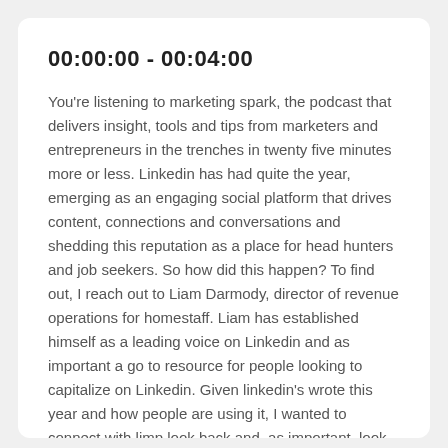00:00:00 - 00:04:00
You're listening to marketing spark, the podcast that delivers insight, tools and tips from marketers and entrepreneurs in the trenches in twenty five minutes more or less. Linkedin has had quite the year, emerging as an engaging social platform that drives content, connections and conversations and shedding this reputation as a place for head hunters and job seekers. So how did this happen? To find out, I reach out to Liam Darmody, director of revenue operations for homestaff. Liam has established himself as a leading voice on Linkedin and as important a go to resource for people looking to capitalize on Linkedin. Given linkedin's wrote this year and how people are using it, I wanted to connect with limp look back and, as important, look forward. Welcome to marketing spark. Happy to be here, thanks for having me. First have you holidays, so I hope you're enjoying some time off before we got back into it next week. I am